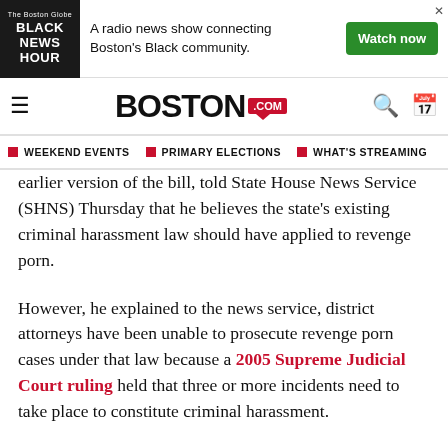[Figure (screenshot): Black News Hour advertisement banner: radio news show connecting Boston's Black community, with Watch now button]
[Figure (logo): Boston.com navigation bar with hamburger menu, Boston.com logo in red speech bubble, search and calendar icons]
WEEKEND EVENTS  PRIMARY ELECTIONS  WHAT'S STREAMING
earlier version of the bill, told State House News Service (SHNS) Thursday that he believes the state's existing criminal harassment law should have applied to revenge porn.
However, he explained to the news service, district attorneys have been unable to prosecute revenge porn cases under that law because a 2005 Supreme Judicial Court ruling held that three or more incidents need to take place to constitute criminal harassment.